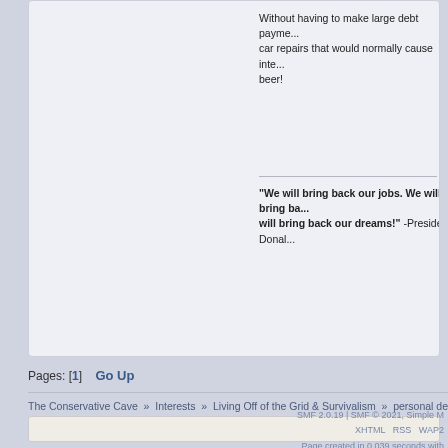Without having to make large debt payments, car repairs that would normally cause inte... beer!
"We will bring back our jobs. We will bring ba... will bring back our dreams!" -President Donal...
Pages: [1]   Go Up
The Conservative Cave » Interests » Living Off of the Grid & Survivalism » personal deb...
SMF 2.0.19 | SMF © 2021, Simple M... | XHTML RSS WAP2 | Page created in 0.039 seconds with